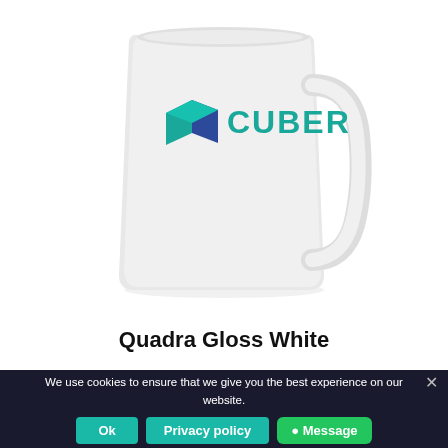[Figure (photo): White ceramic mug with Cuber company logo (blue 3D cube icon and teal CUBER text) printed on the front, handle visible on the right side, photographed on white background]
Quadra Gloss White
We use cookies to ensure that we give you the best experience on our website.
Ok
Privacy policy
Message